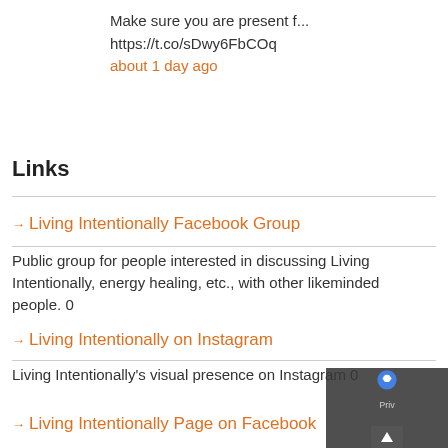Make sure you are present f...
https://t.co/sDwy6FbCOq
about 1 day ago
Links
→ Living Intentionally Facebook Group
Public group for people interested in discussing Living Intentionally, energy healing, etc., with other likeminded people. 0
→ Living Intentionally on Instagram
Living Intentionally's visual presence on Instagram 0
→ Living Intentionally Page on Facebook
The official Living Intentionally page on Facebook 0